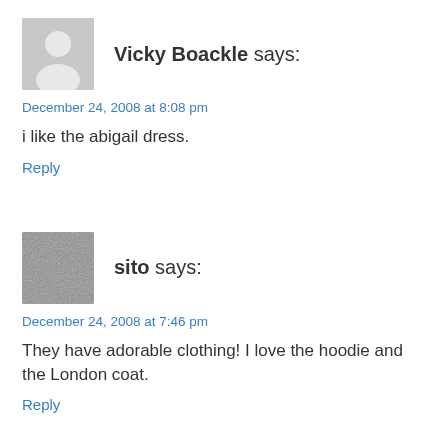[Figure (illustration): Gray silhouette avatar placeholder image for user Vicky Boackle]
Vicky Boackle says:
December 24, 2008 at 8:08 pm
i like the abigail dress.
Reply
[Figure (photo): Small square photo with fuzzy gray texture used as avatar for user sito]
sito says:
December 24, 2008 at 7:46 pm
They have adorable clothing! I love the hoodie and the London coat.
Reply